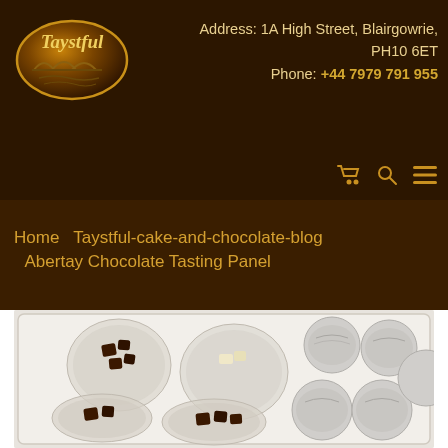[Figure (logo): Taystful oval logo with golden border and text on dark brown background]
Address: 1A High Street, Blairgowrie, PH10 6ET
Phone: +44 7979 791 955
[Figure (other): Navigation icons: shopping cart, search, and hamburger menu in gold]
Home   Taystful-cake-and-chocolate-blog
  Abertay Chocolate Tasting Panel
[Figure (photo): Photo of a white tray with plastic cups containing dark and white chocolates, and silver-foiled chocolate discs]